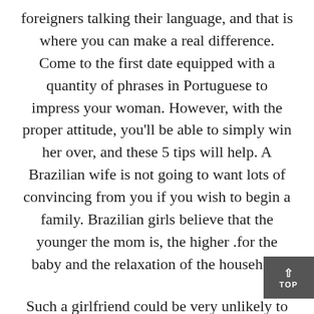foreigners talking their language, and that is where you can make a real difference. Come to the first date equipped with a quantity of phrases in Portuguese to impress your woman. However, with the proper attitude, you'll be able to simply win her over, and these 5 tips will help. A Brazilian wife is not going to want lots of convincing from you if you wish to begin a family. Brazilian girls believe that the younger the mom is, the higher for the baby and the relaxation of the household.
Such a girlfriend could be very unlikely to cheat on you. In addition to that, she is going to always do everything she will be https://brazilianbrides.org able to for you, which is why she could be considered a one hundred pc dependable